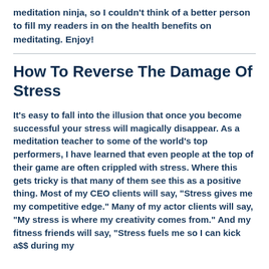#1 out of all books on Amazon. Basically, Emily is a meditation ninja, so I couldn't think of a better person to fill my readers in on the health benefits on meditating. Enjoy!
How To Reverse The Damage Of Stress
It's easy to fall into the illusion that once you become successful your stress will magically disappear. As a meditation teacher to some of the world's top performers, I have learned that even people at the top of their game are often crippled with stress. Where this gets tricky is that many of them see this as a positive thing. Most of my CEO clients will say, "Stress gives me my competitive edge." Many of my actor clients will say, "My stress is where my creativity comes from." And my fitness friends will say, "Stress fuels me so I can kick a$$ during my